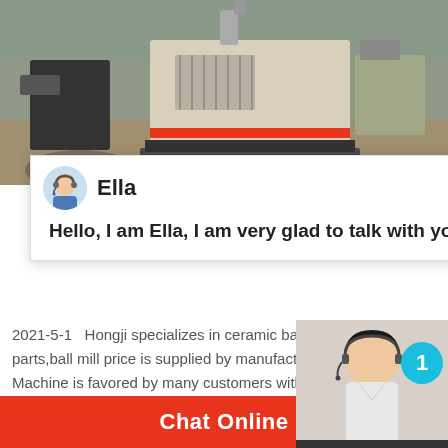[Figure (photo): Aerial/top view of large industrial mining/quarrying machinery and equipment at a stone crushing site with rocky terrain]
[Figure (screenshot): Chat popup overlay with avatar of Ella (customer service agent) and greeting message: Hello, I am Ella, I am very glad to talk with you!]
2021-5-1   Hongji specializes in ceramic ball parts,ball mill price is supplied by manufacturer. Machine is favored by many customers with low price, welcome your choice and orders！
[Figure (photo): Customer service agent photo (woman with headset) with teal notification badge showing number 1, and 'Need questions & suggestion? Chat Now' widget]
Chat Online